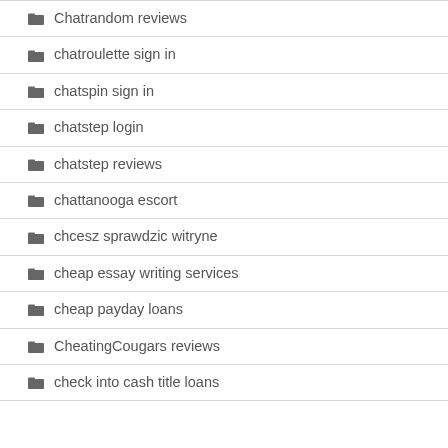Chatrandom reviews
chatroulette sign in
chatspin sign in
chatstep login
chatstep reviews
chattanooga escort
chcesz sprawdzic witryne
cheap essay writing services
cheap payday loans
CheatingCougars reviews
check into cash title loans